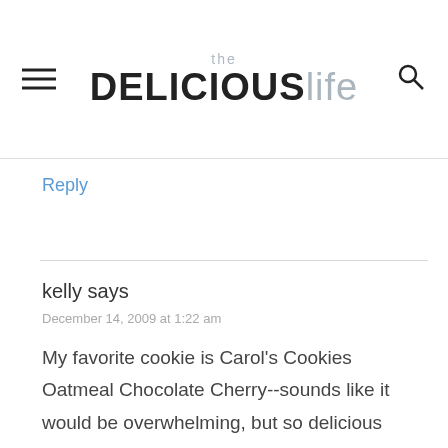the DELICIOUSlife
Reply
kelly says
December 14, 2009 at 1:22 am
My favorite cookie is Carol's Cookies Oatmeal Chocolate Cherry--sounds like it would be overwhelming, but so delicious